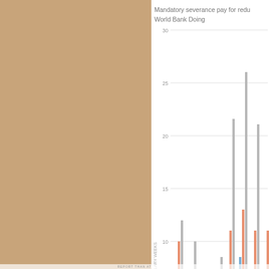[Figure (grouped-bar-chart): Mandatory severance pay for redundancy dismissal, World Bank Doing Business]
Severance pay for redundancy dismissa...
Severance pay for redundancy dismissa...
Severance pay for redundancy dismissa...
Advertisements
[Figure (infographic): DuckDuckGo advertisement banner: Search, browse, and email with more privacy. All in One Free App.]